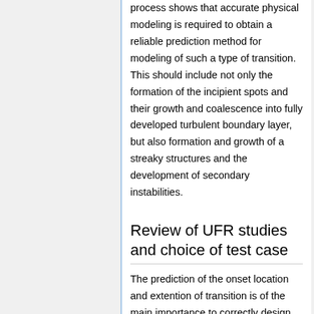process shows that accurate physical modeling is required to obtain a reliable prediction method for modeling of such a type of transition. This should include not only the formation of the incipient spots and their growth and coalescence into fully developed turbulent boundary layer, but also formation and growth of a streaky structures and the development of secondary instabilities.
Review of UFR studies and choice of test case
The prediction of the onset location and extention of transition is of the main importance to correctly design the turbine blading. It is clear today that using "point transition" with an assumed transition location is not sufficient to improve the design of modern